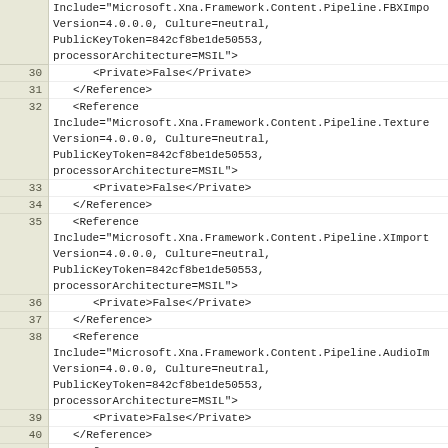Code listing showing XML reference entries (lines 30-44) for Microsoft XNA Framework Content Pipeline assemblies including FBXImporter, TextureImporter, XImporter, AudioImporter, VideoImporter, and TextFileContentExtension
[Figure (screenshot): Source code editor showing XML project file entries with line numbers 30-44, displaying Reference elements for Microsoft.Xna.Framework.Content.Pipeline assemblies with Version=4.0.0.0, Culture=neutral, PublicKeyToken=842cf8be1de50553, processorArchitecture=MSIL and Private=False entries]